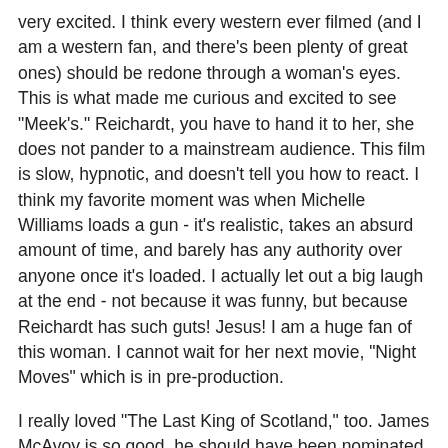very excited.  I think every western ever filmed (and I am a western fan, and there's been plenty of great ones) should be redone through a woman's eyes.  This is what made me curious and excited to see "Meek's."  Reichardt, you have to hand it to her, she does not pander to a mainstream audience.  This film is slow, hypnotic, and doesn't tell you how to react.  I think my favorite moment was when Michelle Williams loads a gun - it's realistic, takes an absurd amount of time, and barely has any authority over anyone once it's loaded.  I actually let out a big laugh at the end - not because it was funny, but because Reichardt has such guts!  Jesus!  I am a huge fan of this woman.  I cannot wait for her next movie, "Night Moves" which is in pre-production.
I really loved "The Last King of Scotland," too.  James McAvoy is so good, he should have been nominated for an oscar too, along with Forest Whitaker.
I was so happy to see "The Fly" again.  When I saw it the first time,  I was so moved by it, I could not stop crying at the end.  I wanted to see if I still felt that way.  Wow, it was even better!  God, Jeff Goldblum is so sexy, so funny, and so